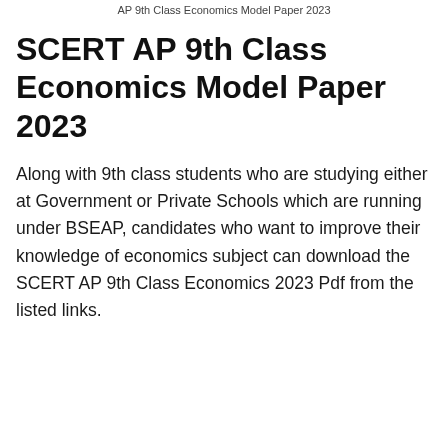AP 9th Class Economics Model Paper 2023
SCERT AP 9th Class Economics Model Paper 2023
Along with 9th class students who are studying either at Government or Private Schools which are running under BSEAP, candidates who want to improve their knowledge of economics subject can download the SCERT AP 9th Class Economics 2023 Pdf from the listed links.